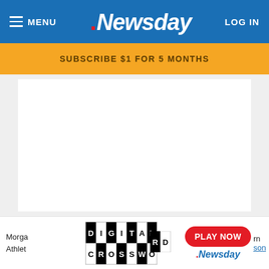MENU | Newsday | LOG IN
SUBSCRIBE $1 FOR 5 MONTHS
[Figure (screenshot): Empty white content area placeholder]
[Figure (screenshot): Digital Crossword advertisement banner with PLAY NOW button and Newsday logo]